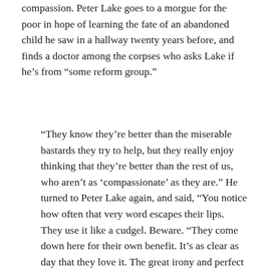compassion. Peter Lake goes to a morgue for the poor in hope of learning the fate of an abandoned child he saw in a hallway twenty years before, and finds a doctor among the corpses who asks Lake if he’s from “some reform group.”
“They know they’re better than the miserable bastards they try to help, but they really enjoy thinking that they’re better than the rest of us, who aren’t as ‘compassionate’ as they are.” He turned to Peter Lake again, and said, “You notice how often that very word escapes their lips. They use it like a cudgel. Beware. “They come down here for their own benefit. It’s as clear as day that they love it. The great irony and perfect joke is that the wretches on the bottom of the barrel get these self-serving scum as champions. Some champions! They feed off the poor—first materially, and then in spirit. But they don’s